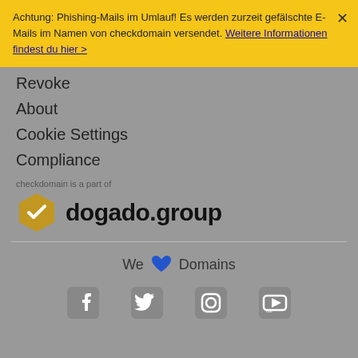Achtung: Phishing-Mails im Umlauf! Es werden zurzeit gefälschte E-Mails im Namen von checkdomain versendet. Weitere Informationen findest du hier >
Revoke
About
Cookie Settings
Compliance
checkdomain is a part of
[Figure (logo): dogado.group logo with hexagon icon in gold/yellow]
We ♥ Domains
[Figure (other): Social media icons: Facebook, Twitter, Instagram, YouTube]